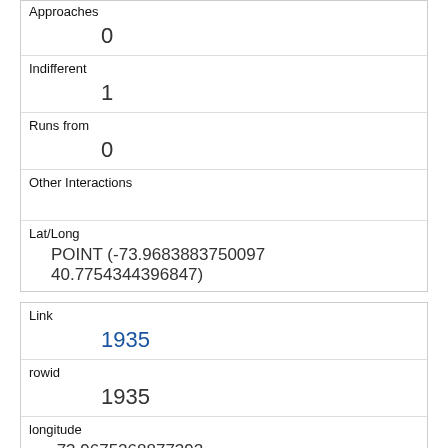| Field | Value |
| --- | --- |
| Approaches | 0 |
| Indifferent | 1 |
| Runs from | 0 |
| Other Interactions |  |
| Lat/Long | POINT (-73.9683883750097 40.7754344396847) |
| Field | Value |
| --- | --- |
| Link | 1935 |
| rowid | 1935 |
| longitude | -73.9675268877392 |
| latitude | 40.775040968171794 |
| Unique Squirrel ID | 13H-AM-1013-01 |